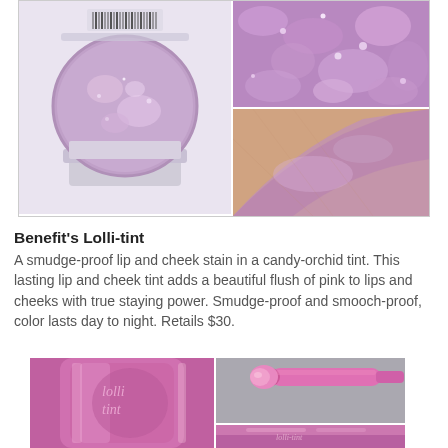[Figure (photo): Top image collage: left side shows an open jar/pot of purple/lavender shimmer eyeshadow in a clear plastic container; top-right shows a close-up macro of the shimmer purple eyeshadow texture; bottom-right shows a skin swatch of the purple shimmer product applied to skin.]
Benefit's Lolli-tint
A smudge-proof lip and cheek stain in a candy-orchid tint. This lasting lip and cheek tint adds a beautiful flush of pink to lips and cheeks with true staying power. Smudge-proof and smooch-proof, color lasts day to night. Retails $30.
[Figure (photo): Bottom image collage showing a pink Benefit Lolli-tint product bottle with metallic pink label, a pink applicator wand/brush, and another angle of the product packaging.]